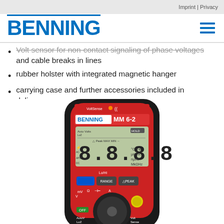Imprint | Privacy
[Figure (logo): BENNING logo in blue with hamburger menu icon]
Volt sensor for non-contact signaling of phase voltages and cable breaks in lines
rubber holster with integrated magnetic hanger
carrying case and further accessories included in delivery
[Figure (photo): BENNING MM 6-2 digital multimeter with display showing 8.8.8.8 segments, buttons RANGE, ΔPEAK, HOLD, rotary dial, and VoltSense indicator]